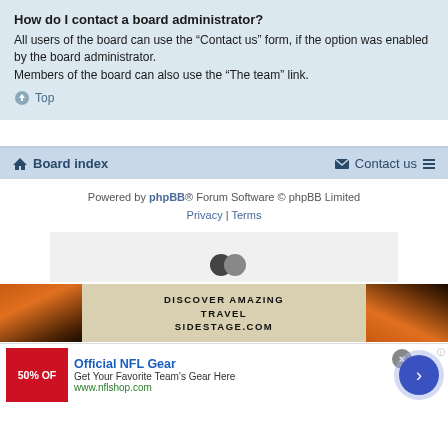How do I contact a board administrator?
All users of the board can use the “Contact us” form, if the option was enabled by the board administrator.
Members of the board can also use the “The team” link.
⌃ Top
Board index   Contact us
Powered by phpBB® Forum Software © phpBB Limited
Privacy | Terms
[Figure (screenshot): Advertisement placeholder with two overlapping circles]
[Figure (screenshot): Banner advertisement: DISCOVER AMAZING TRAVEL SIDESTAGE.COM with sunset images on left and right]
[Figure (screenshot): Bottom advertisement: Official NFL Gear - Get Your Favorite Team's Gear Here - www.nflshop.com with 50% OFF badge and navigation arrow]